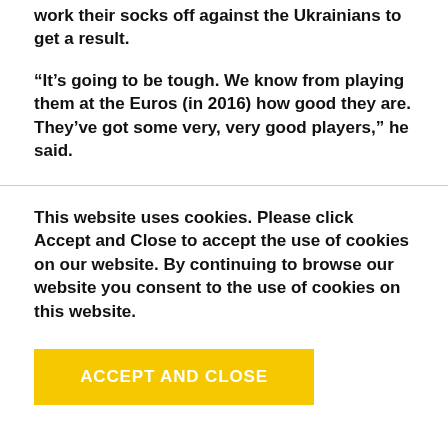work their socks off against the Ukrainians to get a result.
“It’s going to be tough. We know from playing them at the Euros (in 2016) how good they are. They’ve got some very, very good players,” he said.
This website uses cookies. Please click Accept and Close to accept the use of cookies on our website. By continuing to browse our website you consent to the use of cookies on this website.
ACCEPT AND CLOSE